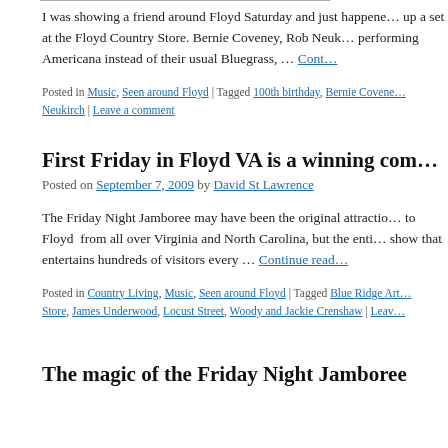I was showing a friend around Floyd Saturday and just happened to show up a set at the Floyd Country Store. Bernie Coveney, Rob Neukirch performing Americana instead of their usual Bluegrass, … Continue reading
Posted in Music, Seen around Floyd | Tagged 100th birthday, Bernie Coveney, Neukirch | Leave a comment
First Friday in Floyd VA is a winning com…
Posted on September 7, 2009 by David St Lawrence
The Friday Night Jamboree may have been the original attraction to Floyd from all over Virginia and North Carolina, but the entire show that entertains hundreds of visitors every … Continue reading
Posted in Country Living, Music, Seen around Floyd | Tagged Blue Ridge Art Store, James Underwood, Locust Street, Woody and Jackie Crenshaw | Leave a comment
The magic of the Friday Night Jamboree